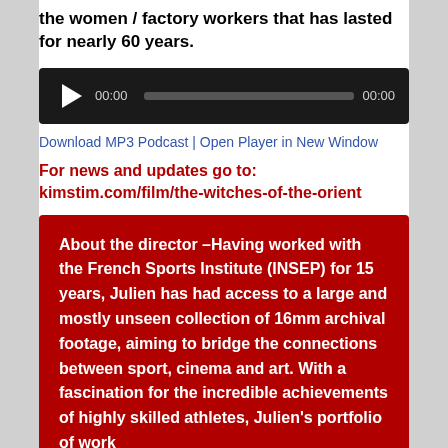the women / factory workers that has lasted for nearly 60 years.
[Figure (other): Audio player widget with play button, time display showing 00:00, progress bar, and end time 00:00, on a black background]
Download MP3 Podcast | Open Player in New Window
For news and updates go to: kimstim.com/film/the-witches-of-the-orient
About the director –Having worked with the French Sports Institute (INSEP) for 15 years, Julien has had access to a large and mostly unseen collection of 16mm archival footage, aiming to bridge the connections between sport, cinema and art. With a fascination for the incredible achievements of highly skilled athletes, Julien's portfolio of work